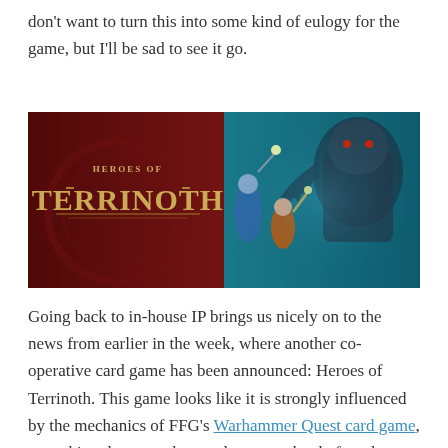don't want to turn this into some kind of eulogy for the game, but I'll be sad to see it go.
[Figure (illustration): Heroes of Terrinoth game banner image showing the game logo on a dark red background on the left, and fantasy characters fighting a large armored creature on a teal background on the right.]
Going back to in-house IP brings us nicely on to the news from earlier in the week, where another co-operative card game has been announced: Heroes of Terrinoth. This game looks like it is strongly influenced by the mechanics of FFG's Warhammer Quest card game, something that turned out to be a one-shot before the license went away back in 2015. While I wanted to like it, ultimately I wasn't really a big fan of